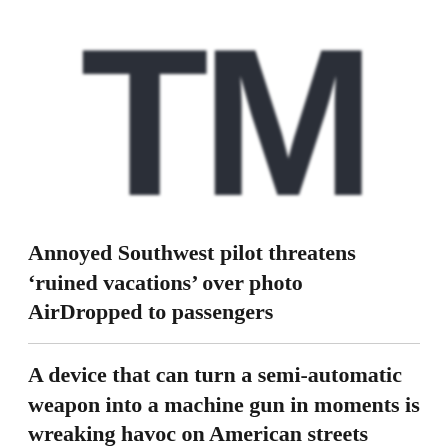[Figure (logo): Large bold TM trademark symbol in dark charcoal color on white background]
Annoyed Southwest pilot threatens ‘ruined vacations’ over photo AirDropped to passengers
A device that can turn a semi-automatic weapon into a machine gun in moments is wreaking havoc on American streets